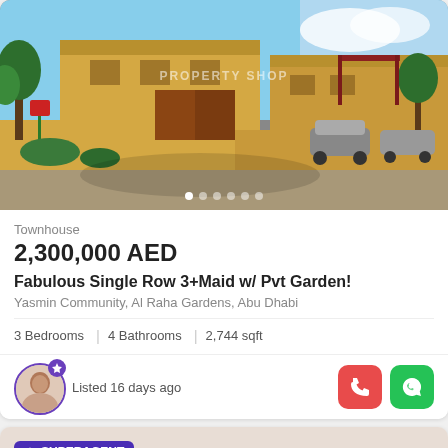[Figure (photo): Exterior photo of a yellow townhouse community with cars parked, trees, and blue sky. Watermark reads PROPERTY SHOP.]
Townhouse
2,300,000 AED
Fabulous Single Row 3+Maid w/ Pvt Garden!
Yasmin Community, Al Raha Gardens, Abu Dhabi
3 Bedrooms | 4 Bathrooms | 2,744 sqft
Listed 16 days ago
[Figure (photo): Bottom card showing SUPERAGENT badge, Map button, heart and more icons, with partial property image below.]